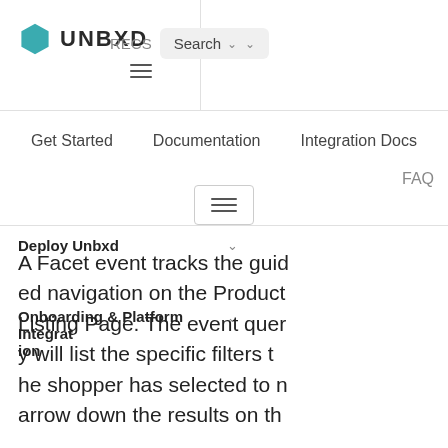[Figure (logo): UNBXD logo with teal hexagon icon and bold UNBXD text]
RECS  Search  (dropdown)
Get Started   Documentation   Integration Docs
FAQ
Deploy Unbxd
Onboarding & Platform Integrat ion
A Facet event tracks the guid ed navigation on the Product Listing Page. The event quer y will list the specific filters t he shopper has selected to n arrow down the results on th